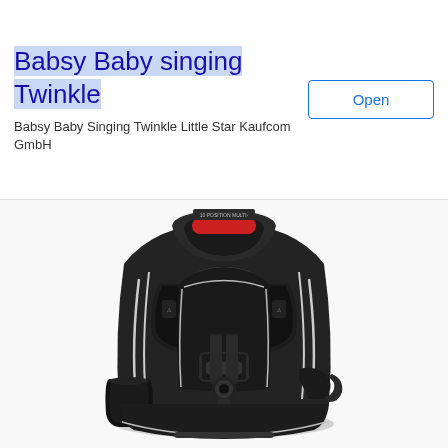[Figure (screenshot): Advertisement banner for 'Babsy Baby singing Twinkle' app by Kaufcom GmbH with an Open button, ad icons top right, and a collapse chevron button below the banner. Main content shows a Graco black car seat with white piping, red accents, cup holder, and 5-point harness, front-facing view on white background.]